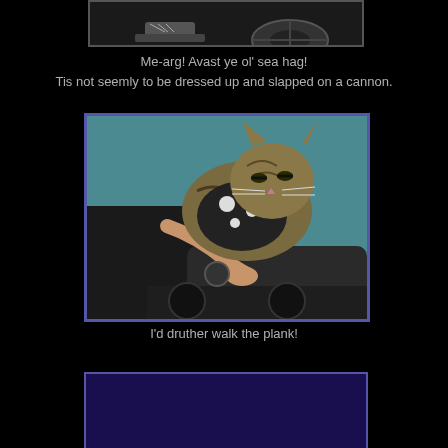[Figure (photo): Partial photo at top showing shoes and a wheel on a dark background]
Me-arg!  Avast ye ol' sea hag!
Tis not seemly to be dressed up and slapped on a cannon.
[Figure (photo): Photo of a tabby cat wearing a black and white spotted outfit, placed on a cannon, with a person's hand touching it. Blue-green background.]
I'd druther walk the plank!
[Figure (photo): Partially visible dark blue/purple image at the bottom of the page]